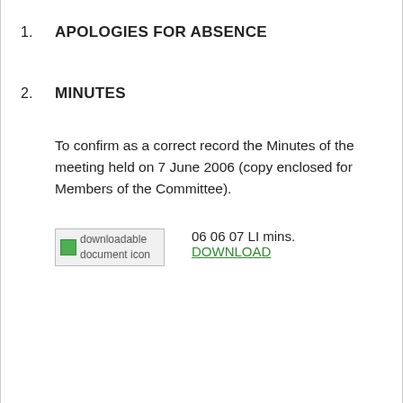1.   APOLOGIES FOR ABSENCE
2.   MINUTES
To confirm as a correct record the Minutes of the meeting held on 7 June 2006 (copy enclosed for Members of the Committee).
downloadable document icon   06 06 07 LI mins.
DOWNLOAD